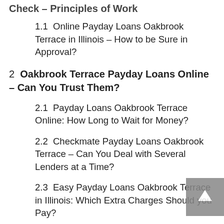Check – Principles of Work
1.1  Online Payday Loans Oakbrook Terrace in Illinois – How to be Sure in Approval?
2  Oakbrook Terrace Payday Loans Online – Can You Trust Them?
2.1  Payday Loans Oakbrook Terrace Online: How Long to Wait for Money?
2.2  Checkmate Payday Loans Oakbrook Terrace – Can You Deal with Several Lenders at a Time?
2.3  Easy Payday Loans Oakbrook Terrace in Illinois: Which Extra Charges Should you Pay?
3  Oakbrook Terrace Payday Loans – What Is Necessary to Get Them?
3.1  Best Payday Loans in Oakbrook Terrace in Illinois: Some Reasons for Refusal